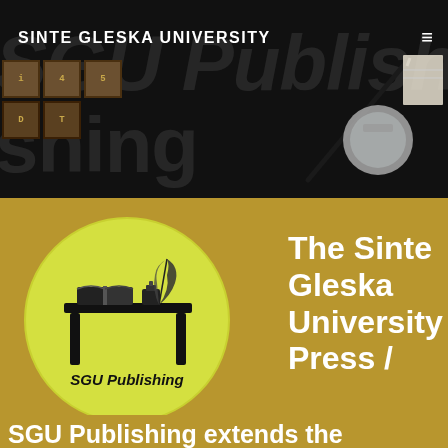SINTE GLESKA UNIVERSITY
[Figure (logo): SGU Publishing logo: yellow circle with illustration of a writing desk with open book, ink bottle, and quill pen, with text 'SGU Publishing' below the desk]
The Sinte Gleska University Press /
SGU Publishing extends the University's